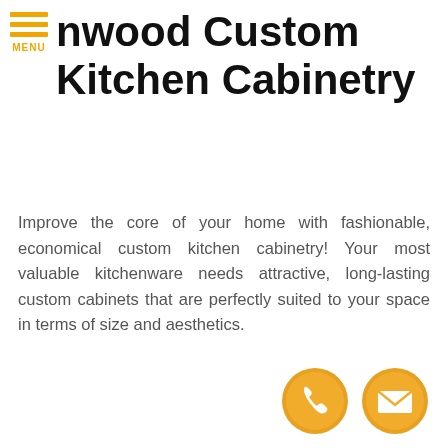MENU
nwood Custom Kitchen Cabinetry
Improve the core of your home with fashionable, economical custom kitchen cabinetry! Your most valuable kitchenware needs attractive, long-lasting custom cabinets that are perfectly suited to your space in terms of size and aesthetics.
[Figure (illustration): Orange circular phone button icon]
[Figure (illustration): Orange circular email/envelope button icon]